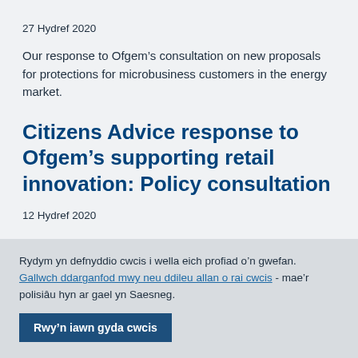27 Hydref 2020
Our response to Ofgem’s consultation on new proposals for protections for microbusiness customers in the energy market.
Citizens Advice response to Ofgem’s supporting retail innovation: Policy consultation
12 Hydref 2020
Response to Ofgem consultation
Rydym yn defnyddio cwcis i wella eich profiad o’n gwefan. Gallwch ddarganfod mwy neu ddileu allan o rai cwcis - mae’r polisiâu hyn ar gael yn Saesneg.
Rwy’n iawn gyda cwcis